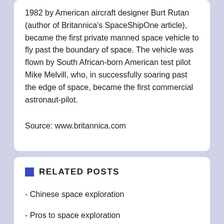1982 by American aircraft designer Burt Rutan (author of Britannica's SpaceShipOne article), became the first private manned space vehicle to fly past the boundary of space. The vehicle was flown by South African-born American test pilot Mike Melvill, who, in successfully soaring past the edge of space, became the first commercial astronaut-pilot.
Source: www.britannica.com
RELATED POSTS
- Chinese space exploration
- Pros to space exploration
- Novels About Space exploration
- Facts About Space exploration